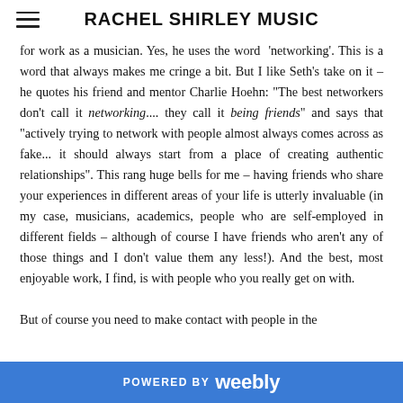RACHEL SHIRLEY MUSIC
for work as a musician. Yes, he uses the word ‘networking’. This is a word that always makes me cringe a bit. But I like Seth’s take on it – he quotes his friend and mentor Charlie Hoehn: "The best networkers don’t call it networking.... they call it being friends" and says that "actively trying to network with people almost always comes across as fake... it should always start from a place of creating authentic relationships". This rang huge bells for me – having friends who share your experiences in different areas of your life is utterly invaluable (in my case, musicians, academics, people who are self-employed in different fields – although of course I have friends who aren’t any of those things and I don’t value them any less!). And the best, most enjoyable work, I find, is with people who you really get on with.

But of course you need to make contact with people in the
POWERED BY weebly